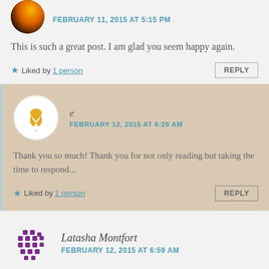FEBRUARY 11, 2015 AT 5:15 PM
This is such a great post. I am glad you seem happy again.
★ Liked by 1 person   REPLY
e
FEBRUARY 12, 2015 AT 6:29 AM
Thank you so much! Thank you for not only reading but taking the time to respond...
★ Liked by 1 person   REPLY
Latasha Montfort
FEBRUARY 12, 2015 AT 6:59 AM